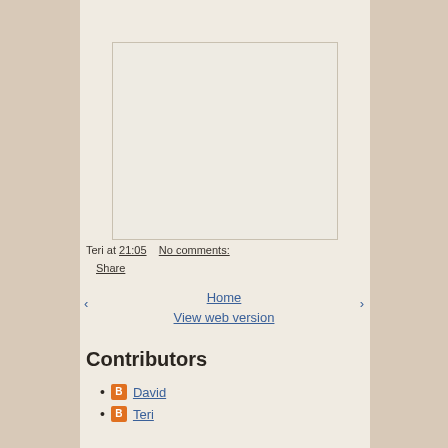[Figure (other): Empty placeholder image box with light border and background]
Teri at 21:05    No comments:
Share
‹    Home    View web version    ›
Contributors
David
Teri